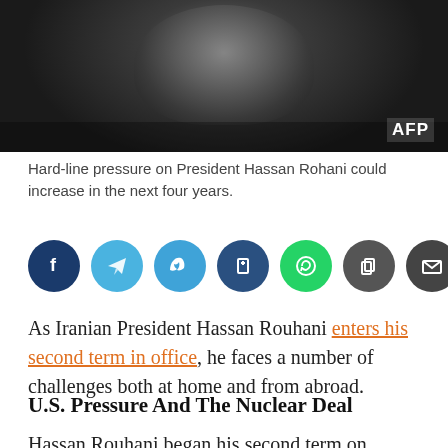[Figure (photo): Photograph of a person (appears to be Hassan Rohani) with AFP watermark in bottom right corner. Dark background image cropped at top.]
Hard-line pressure on President Hassan Rohani could increase in the next four years.
[Figure (infographic): Row of social media sharing buttons: Facebook (dark blue), Telegram (light blue), Twitter (blue), bookmark/share (dark blue), WhatsApp (green), copy (dark grey), email (dark grey)]
As Iranian President Hassan Rouhani enters his second term in office, he faces a number of challenges both at home and from abroad.
U.S. Pressure And The Nuclear Deal
Hassan Rouhani began his second term on August 5 amid an intensification of pressure from Washington, which has accused Tehran of